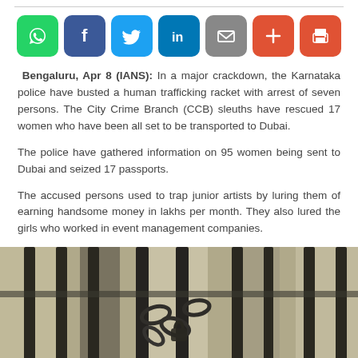[Figure (infographic): Social media sharing buttons: WhatsApp (green), Facebook (dark blue), Twitter (light blue), LinkedIn (blue), Email (grey), Plus/More (red-orange), Print (red-orange)]
Bengaluru, Apr 8 (IANS): In a major crackdown, the Karnataka police have busted a human trafficking racket with arrest of seven persons. The City Crime Branch (CCB) sleuths have rescued 17 women who have been all set to be transported to Dubai.
The police have gathered information on 95 women being sent to Dubai and seized 17 passports.
The accused persons used to trap junior artists by luring them of earning handsome money in lakhs per month. They also lured the girls who worked in event management companies.
[Figure (photo): Photo of prison bars with chains locked around them, in sepia/desaturated tones]